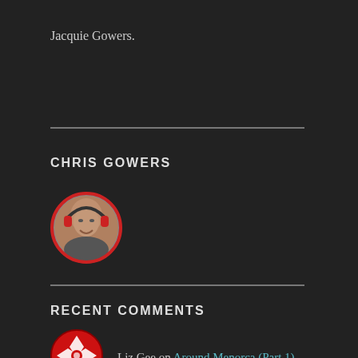Jacquie Gowers.
CHRIS GOWERS
[Figure (photo): Circular avatar photo of Chris Gowers, a man wearing headphones, smiling, with a red border circle.]
RECENT COMMENTS
Liz Gee on Around Menorca (Part 1)
[Figure (logo): Circular red and white decorative icon for commenter Liz Gee, geometric diamond/star pattern.]